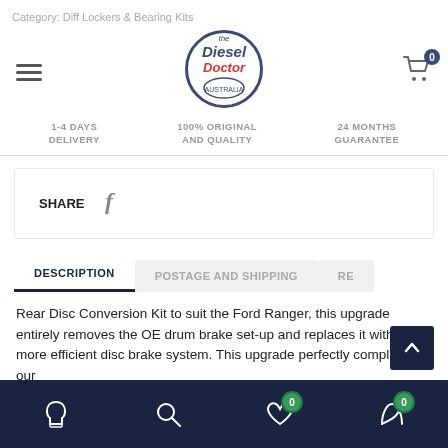Category: Diff Lockers & Bearing Kits
[Figure (logo): Diesel Doctor circular logo with blue border, brand name in blue and red italic text]
1-4 DAYS DELIVERY   100% ORIGINAL AND QUALITY   24 MONTHS GUARANTEE
SHARE
DESCRIPTION
POSTAGE AND SHIPPING
RE
Rear Disc Conversion Kit to suit the Ford Ranger, this upgrade entirely removes the OE drum brake set-up and replaces it with a more efficient disc brake system. This upgrade perfectly compliments our